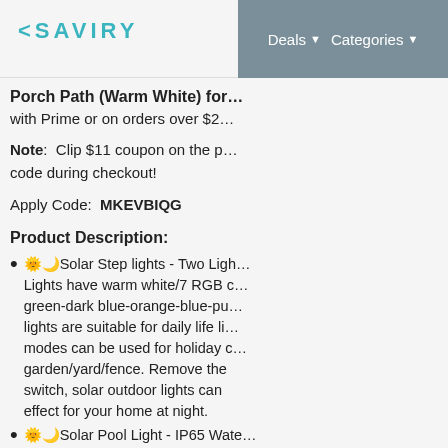< SAVIRY   Deals ▾  Categories ▾
Porch Path (Warm White) for … with Prime or on orders over $2…
Note: Clip $11 coupon on the p… code during checkout!
Apply Code: MKEVBIQG
Product Description:
🌞🌙Solar Step lights - Two Ligh… Lights have warm white/7 RGB c… green-dark blue-orange-blue-pu… lights are suitable for daily life li… modes can be used for holiday … garden/yard/fence. Remove the … switch, solar outdoor lights can … effect for your home at night.
🌞🌙Solar Pool Light - IP65 Wat… made of sturdy acrylic and ABS … and impact resistant. The waterp… Solar Light is IP65, and it has fro… temperature resistance and cor…